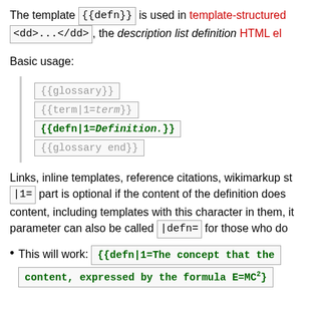The template {{defn}} is used in template-structured <dd>...</dd>, the description list definition HTML el
Basic usage:
{{glossary}}
{{term|1=term}}
{{defn|1=Definition.}}
{{glossary end}}
Links, inline templates, reference citations, wikimarkup st |1= part is optional if the content of the definition does content, including templates with this character in them, it parameter can also be called |defn= for those who do
This will work: {{defn|1=The concept that the content, expressed by the formula E=MC²}